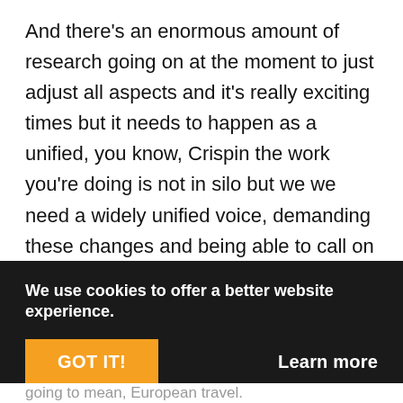And there's an enormous amount of research going on at the moment to just adjust all aspects and it's really exciting times but it needs to happen as a unified, you know, Crispin the work you're doing is not in silo but we we need a widely unified voice, demanding these changes and being able to call on mass for the ability to be able to practice at the moment, you know, music is so hard hit and artists are struggling so much that we we can't often afford to take the more expensive choices. And that's a real tragedy, we're
We use cookies to offer a better website experience.
GOT IT!
Learn more
going to mean, European travel.